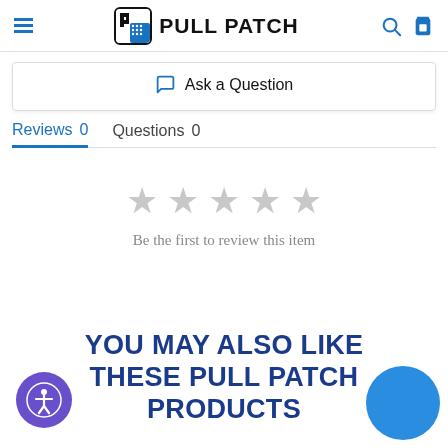PULL PATCH
Ask a Question
Reviews 0   Questions 0
[Figure (other): Five empty star rating icons in gray indicating no reviews yet]
Be the first to review this item
YOU MAY ALSO LIKE THESE PULL PATCH PRODUCTS